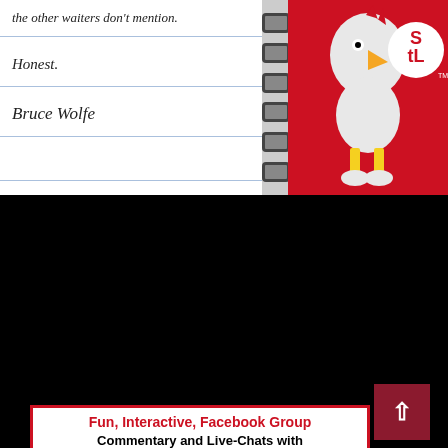[Figure (photo): Notebook with handwritten text 'the other waiters don't mention. Honest. Bruce Wolfe' on lined pages with spiral binding, alongside a St. Louis Cardinals mascot (Fredbird) image on red background]
[Figure (infographic): Advertisement for St. Louis Cardinals Fans & Friends Facebook Group. Title: 'Fun, Interactive, Facebook Group'. Subtitle: 'Commentary and Live-Chats with ROB RAINS'. Logo of Cardinals Fans & Friends group. Bullet points: NEWS, RUMORS, HOT STOVE, TRADE TALK, HISTORY, SPRING TRAINING, PROSPECTS, IN-GAME CHATS. Footer: 'Join this page & have some fun!']